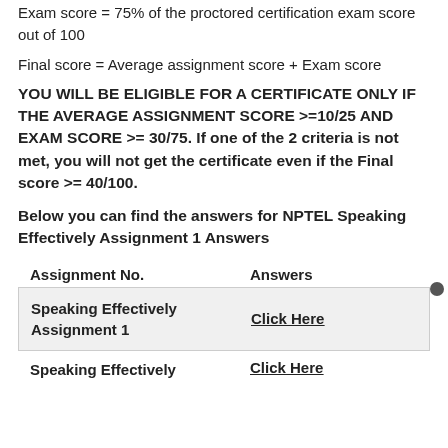Exam score = 75% of the proctored certification exam score out of 100
YOU WILL BE ELIGIBLE FOR A CERTIFICATE ONLY IF THE AVERAGE ASSIGNMENT SCORE >=10/25 AND EXAM SCORE >= 30/75. If one of the 2 criteria is not met, you will not get the certificate even if the Final score >= 40/100.
Below you can find the answers for NPTEL Speaking Effectively Assignment 1 Answers
| Assignment No. | Answers |
| --- | --- |
| Speaking Effectively Assignment 1 | Click Here |
| Speaking Effectively | Click Here |